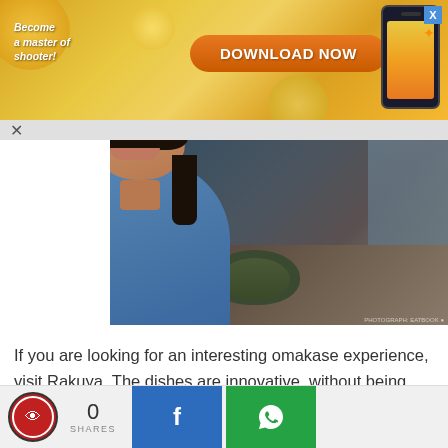[Figure (photo): Advertisement banner with orange/yellow background showing 'Become a master of shooter!' text on left and 'DOWNLOAD NOW' button in center with phone graphic on right]
[Figure (photo): Photo of a smiling woman in a blue/denim top sitting at a restaurant bar counter with a bowl of food in front of her]
If you are looking for an interesting omakase experience, visit Rakuya. The dishes are innovative, without being overly experimental. The team of chefs really do a good job in blending flavours together, and I will definitely make a return to Rakuya on my own budget. On an